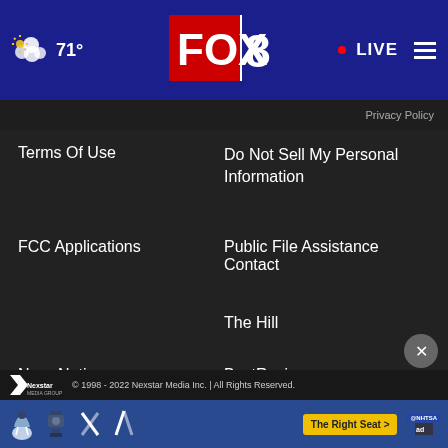71° FOX 8 LIVE
Terms Of Use
Do Not Sell My Personal Information
FCC Applications
Public File Assistance Contact
The Hill
NewsNation
BestReviews
Content Licensing
Nexstar Digital
© 1998 - 2022 Nexstar Media Inc. | All Rights Reserved.
[Figure (advertisement): NHTSA car seat safety ad with The Right Seat button]